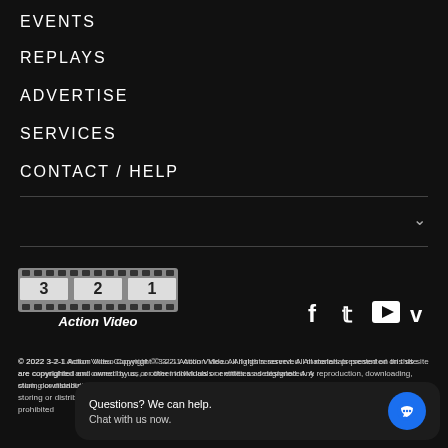EVENTS
REPLAYS
ADVERTISE
SERVICES
CONTACT / HELP
[Figure (logo): 3-2-1 Action Video film strip logo with text 'Action Video']
[Figure (infographic): Social media icons: Facebook, Twitter, YouTube, Vimeo]
© 2022 3-2-1 Action Video Copyright © 3-2-1 Action Video. All rights reserved. All materials presented on this site are copyrighted and owned by us, or other individuals or entities as designated. Any reproduction, downloading, storing or distribution of content from this site is expressly prohibited